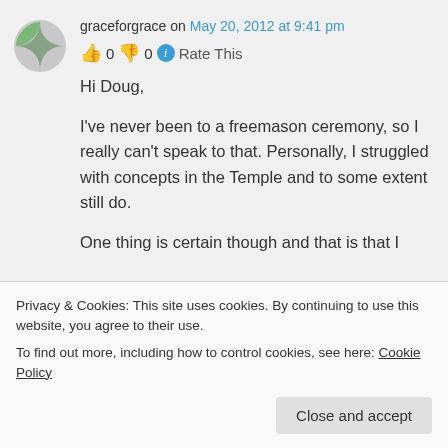graceforgrace on May 20, 2012 at 9:41 pm
👍 0 👎 0 ℹ Rate This
Hi Doug,
I've never been to a freemason ceremony, so I really can't speak to that. Personally, I struggled with concepts in the Temple and to some extent still do.
One thing is certain though and that is that I
Privacy & Cookies: This site uses cookies. By continuing to use this website, you agree to their use.
To find out more, including how to control cookies, see here: Cookie Policy
Close and accept